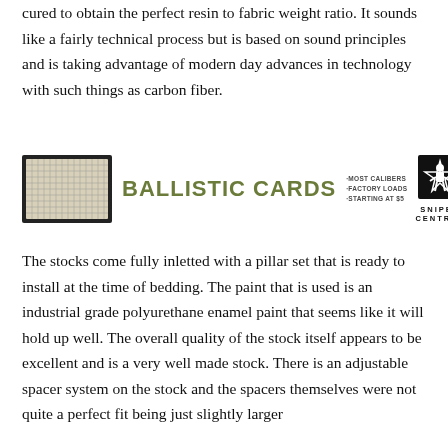cured to obtain the perfect resin to fabric weight ratio. It sounds like a fairly technical process but is based on sound principles and is taking advantage of modern day advances in technology with such things as carbon fiber.
[Figure (logo): Advertisement banner for Ballistic Cards by Sniper Central. Shows a grid-patterned card image on the left, bold green text reading BALLISTIC CARDS in the center, bullet points listing -MOST CALIBERS, -FACTORY LOADS, -STARTING AT $5, and a Sniper Central logo with soldier silhouette on the right.]
The stocks come fully inletted with a pillar set that is ready to install at the time of bedding. The paint that is used is an industrial grade polyurethane enamel paint that seems like it will hold up well. The overall quality of the stock itself appears to be excellent and is a very well made stock. There is an adjustable spacer system on the stock and the spacers themselves were not quite a perfect fit being just slightly larger